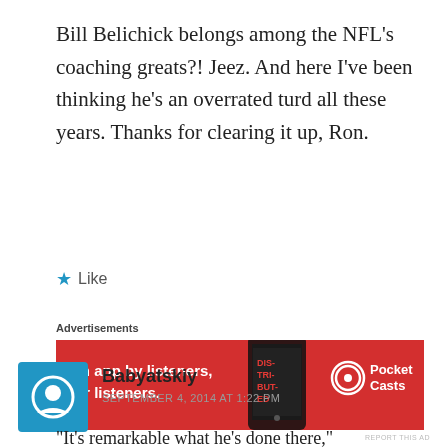Bill Belichick belongs among the NFL's coaching greats?! Jeez. And here I've been thinking he's an overrated turd all these years. Thanks for clearing it up, Ron.
★ Like
Advertisements
[Figure (other): Pocket Casts advertisement banner: red background with text 'An app by listeners, for listeners.' and Pocket Casts logo on the right, phone image in center]
REPORT THIS AD
Babyatskiy
SEPTEMBER 4, 2014 AT 1:22 PM
“It’s remarkable what he’s done there,”